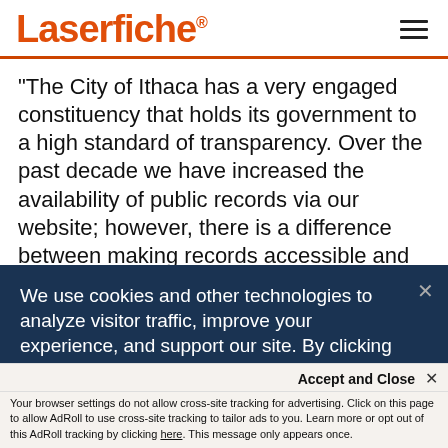Laserfiche
"The City of Ithaca has a very engaged constituency that holds its government to a high standard of transparency. Over the past decade we have increased the availability of public records via our website; however, there is a difference between making records accessible and
We use cookies and other technologies to analyze visitor traffic, improve your experience, and support our site. By clicking “I Agree”, you consent for us to set advertising cookies and provide you with tailored ads in accordance with our Privacy Policy.
Accept and Close ×
Your browser settings do not allow cross-site tracking for advertising. Click on this page to allow AdRoll to use cross-site tracking to tailor ads to you. Learn more or opt out of this AdRoll tracking by clicking here. This message only appears once.